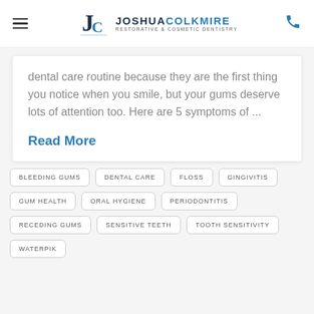Joshua Colkmire Restorative & Cosmetic Dentistry
dental care routine because they are the first thing you notice when you smile, but your gums deserve lots of attention too. Here are 5 symptoms of ...
Read More
BLEEDING GUMS
DENTAL CARE
FLOSS
GINGIVITIS
GUM HEALTH
ORAL HYGIENE
PERIODONTITIS
RECEDING GUMS
SENSITIVE TEETH
TOOTH SENSITIVITY
WATERPIK